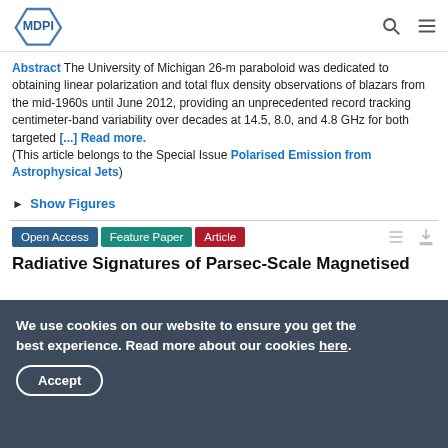MDPI
Abstract The University of Michigan 26-m paraboloid was dedicated to obtaining linear polarization and total flux density observations of blazars from the mid-1960s until June 2012, providing an unprecedented record tracking centimeter-band variability over decades at 14.5, 8.0, and 4.8 GHz for both targeted [...] Read more. (This article belongs to the Special Issue Polarised Emission from Astrophysical Jets)
► Show Figures
Open Access Feature Paper Article
Radiative Signatures of Parsec-Scale Magnetised
We use cookies on our website to ensure you get the best experience. Read more about our cookies here. Accept